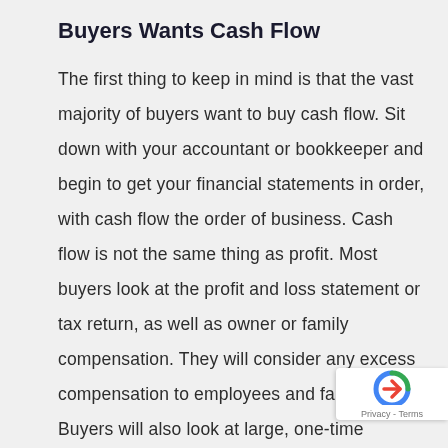Buyers Wants Cash Flow
The first thing to keep in mind is that the vast majority of buyers want to buy cash flow. Sit down with your accountant or bookkeeper and begin to get your financial statements in order, with cash flow the order of business. Cash flow is not the same thing as profit. Most buyers look at the profit and loss statement or tax return, as well as owner or family compensation. They will consider any excess compensation to employees and family. Buyers will also look at large, one-time expenses such as a new computer system or remodelling. They will consider any items like depreciation